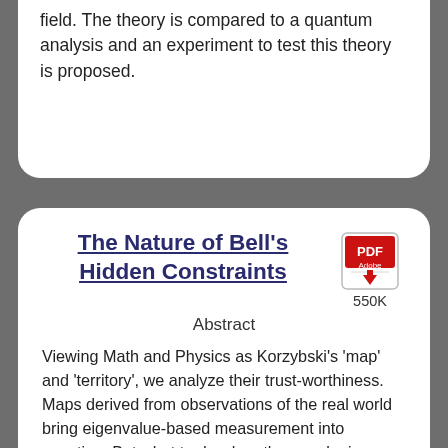field. The theory is compared to a quantum analysis and an experiment to test this theory is proposed.
The Nature of Bell's Hidden Constraints
[Figure (other): PDF icon with file size 550K]
Abstract
Viewing Math and Physics as Korzybski's 'map' and 'territory', we analyze their trust-worthiness. Maps derived from observations of the real world bring eigenvalue-based measurement into question. But what to do when the map logic conflicts with our physical intuition? This is often resolved in favor of the non-intuitive, whether simultaneity in relativity or non-locality in the case of Bell's theorem. The subtle nature of Bell's hidden constraints crossing the hidden variable